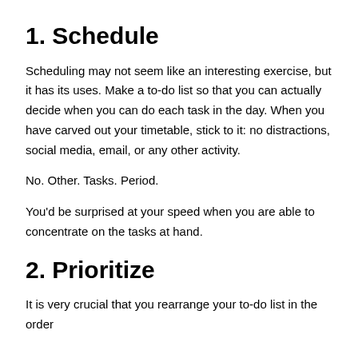1. Schedule
Scheduling may not seem like an interesting exercise, but it has its uses. Make a to-do list so that you can actually decide when you can do each task in the day. When you have carved out your timetable, stick to it: no distractions, social media, email, or any other activity.
No. Other. Tasks. Period.
You’d be surprised at your speed when you are able to concentrate on the tasks at hand.
2. Prioritize
It is very crucial that you rearrange your to-do list in the order